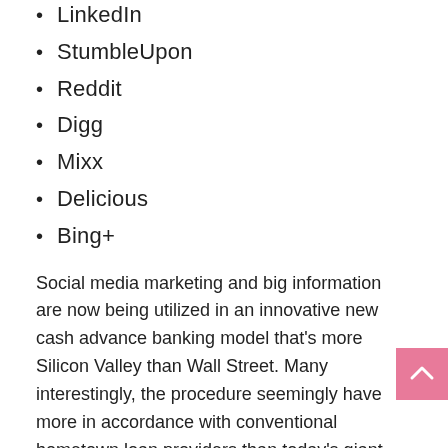LinkedIn
StumbleUpon
Reddit
Digg
Mixx
Delicious
Bing+
Social media marketing and big information are now being utilized in an innovative new cash advance banking model that's more Silicon Valley than Wall Street. Many interestingly, the procedure seemingly have more in accordance with conventional hometown loan providers than today’s giant banking institutions or typical loan that is payday.
When individuals have nostalgic about community banking, they